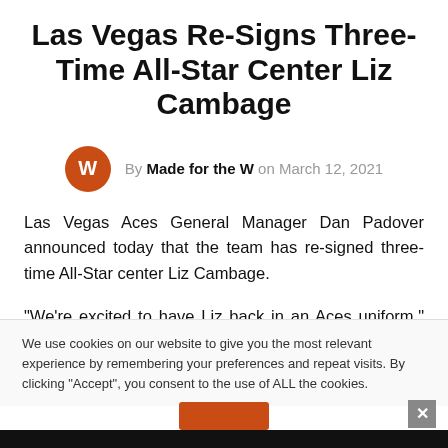Las Vegas Re-Signs Three-Time All-Star Center Liz Cambage
By Made for the W on March 12, 2021
Las Vegas Aces General Manager Dan Padover announced today that the team has re-signed three-time All-Star center Liz Cambage.
“We’re excited to have Liz back in an Aces uniform,” said Aces Head Coach Bill Laimbeer. “Two years ago [in
We use cookies on our website to give you the most relevant experience by remembering your preferences and repeat visits. By clicking “Accept”, you consent to the use of ALL the cookies.